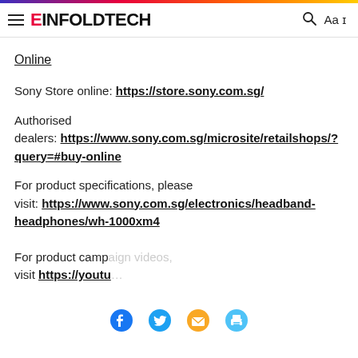EINFOLDTECH
Online
Sony Store online: https://store.sony.com.sg/
Authorised dealers: https://www.sony.com.sg/microsite/retailshops/?query=#buy-online
For product specifications, please visit: https://www.sony.com.sg/electronics/headband-headphones/wh-1000xm4
For product camp... visit https://youtu...